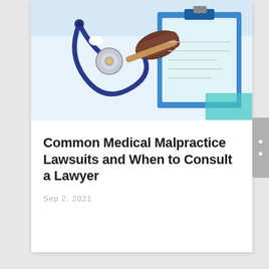[Figure (photo): Medical and legal themed photo showing a stethoscope, gavel, and clipboard on a light blue background]
Common Medical Malpractice Lawsuits and When to Consult a Lawyer
Sep 2, 2021